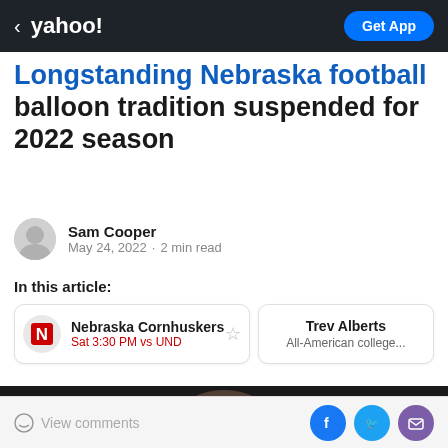< yahoo! | Get App
Longstanding Nebraska football balloon tradition suspended for 2022 season
Sam Cooper
May 24, 2022 · 2 min read
In this article:
Nebraska Cornhuskers
Sat 3:30 PM vs UND
Trev Alberts
All-American college...
[Figure (photo): Dark photo of people at a sports event, partially cropped]
View comments
Social share buttons: Facebook, Twitter, Mail